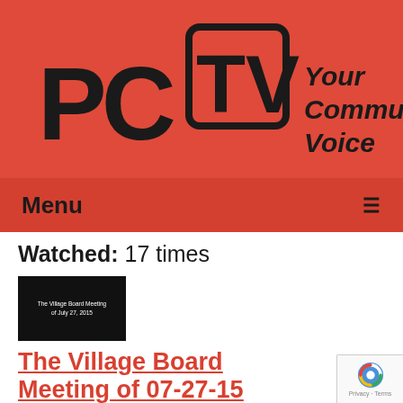[Figure (logo): PCTV logo with stylized letters P, C, T, V in black on red background, with tagline 'Your Community Voice' in bold italic black text]
Menu ≡
Watched: 17 times
[Figure (screenshot): Black video thumbnail showing text 'The Village Board Meeting of July 27, 2015']
The Village Board Meeting of 07-27-15
Airdate: 07/27/2015